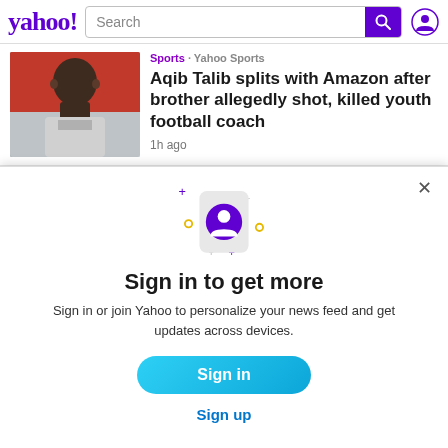yahoo! Search
Sports · Yahoo Sports
Aqib Talib splits with Amazon after brother allegedly shot, killed youth football coach
1h ago
[Figure (photo): Photo of Aqib Talib, a bald Black man wearing a sports jersey]
[Figure (illustration): Illustration of a smartphone with a user profile icon and sparkle decorations]
Sign in to get more
Sign in or join Yahoo to personalize your news feed and get updates across devices.
Sign in
Sign up